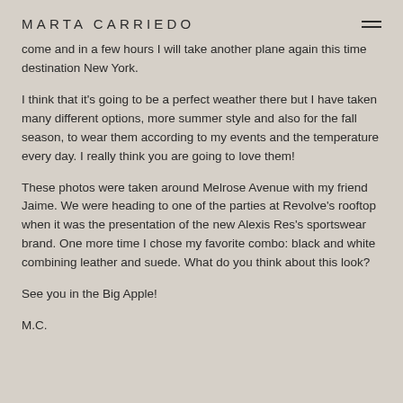MARTA CARRIEDO
come and in a few hours I will take another plane again this time destination New York.
I think that it's going to be a perfect weather there but I have taken many different options, more summer style and also for the fall season, to wear them according to my events and the temperature every day. I really think you are going to love them!
These photos were taken around Melrose Avenue with my friend Jaime. We were heading to one of the parties at Revolve's rooftop when it was the presentation of the new Alexis Res's sportswear brand. One more time I chose my favorite combo: black and white combining leather and suede. What do you think about this look?
See you in the Big Apple!
M.C.